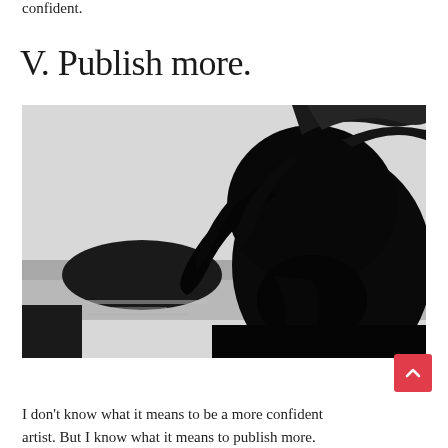confident.
V. Publish more.
[Figure (photo): Black and white photograph of a person with dark messy hair bowed down, face partially visible, with a body of water and dark rocky outcroppings in the background.]
I don't know what it means to be a more confident artist. But I know what it means to publish more.